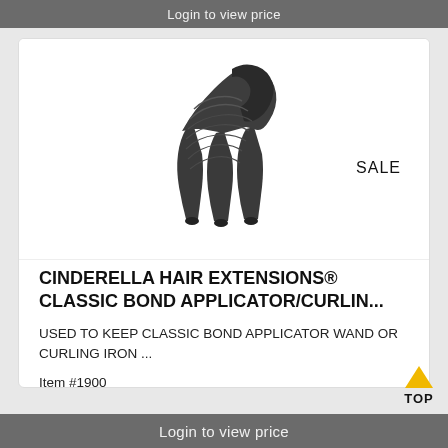Login to view price
[Figure (photo): Black hair extension applicator tool with three-pronged base and decorative swirl pattern on the body, shown at an angle. A 'SALE' label appears to the right.]
CINDERELLA HAIR EXTENSIONS® CLASSIC BOND APPLICATOR/CURLIN...
USED TO KEEP CLASSIC BOND APPLICATOR WAND OR CURLING IRON ...
Item #1900
Login to view price